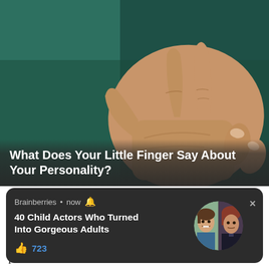[Figure (photo): Close-up photograph of an elderly hand with fingers splayed against a dark teal/green background. The hand shows wrinkled skin and prominent knuckles.]
What Does Your Little Finger Say About Your Personality?
We use cookies on our website to give you the most relevant experience by remembering your preferences and repeat visits. By clicking “Accept All” Ho pro
[Figure (screenshot): Push notification popup overlay with dark background showing: 'Brainberries • now' with bell icon, title '40 Child Actors Who Turned Into Gorgeous Adults', a thumbs up icon with '723', a circular image showing two child actors side by side (before/after), and an X close button.]